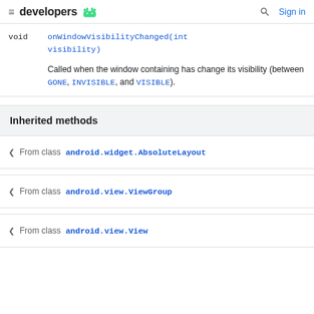developers
| Type | Method |
| --- | --- |
| void | onWindowVisibilityChanged(int visibility)
Called when the window containing has change its visibility (between GONE, INVISIBLE, and VISIBLE). |
Inherited methods
From class android.widget.AbsoluteLayout
From class android.view.ViewGroup
From class android.view.View